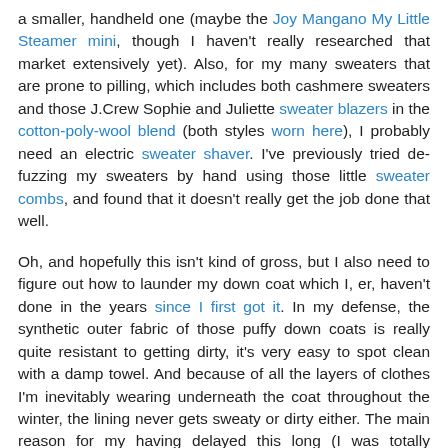a smaller, handheld one (maybe the Joy Mangano My Little Steamer mini, though I haven't really researched that market extensively yet). Also, for my many sweaters that are prone to pilling, which includes both cashmere sweaters and those J.Crew Sophie and Juliette sweater blazers in the cotton-poly-wool blend (both styles worn here), I probably need an electric sweater shaver. I've previously tried de-fuzzing my sweaters by hand using those little sweater combs, and found that it doesn't really get the job done that well.
Oh, and hopefully this isn't kind of gross, but I also need to figure out how to launder my down coat which I, er, haven't done in the years since I first got it. In my defense, the synthetic outer fabric of those puffy down coats is really quite resistant to getting dirty, it's very easy to spot clean with a damp towel. And because of all the layers of clothes I'm inevitably wearing underneath the coat throughout the winter, the lining never gets sweaty or dirty either. The main reason for my having delayed this long (I was totally planning on washing it last summer, but never got around to it) is that I can't quite figure out the best way to clean it. The care label says it shouldn't be dry cleaned, only machine-washed and